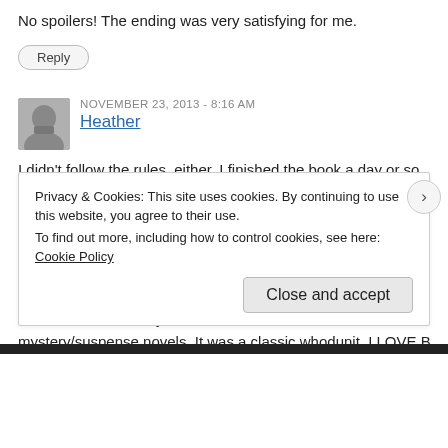No spoilers! The ending was very satisfying for me.
Reply
NOVEMBER 23, 2013 - 8:16 AM
Heather
I didn't follow the rules, either. I finished the book a day or so after the mid-way point, and I didn't blog at the mid-way point–I commented on Ellie's post. Heh.
I really liked The Moonstone. I actually gave it five stars. I'm not *swooning* over it, really, but I thought it was excellent. I liked that it was a mystery novel without the suspense that we're used to in today's mystery/suspense novels. It was a classic whodunit. I LOVE Betteredge
Privacy & Cookies: This site uses cookies. By continuing to use this website, you agree to their use.
To find out more, including how to control cookies, see here: Cookie Policy
Close and accept